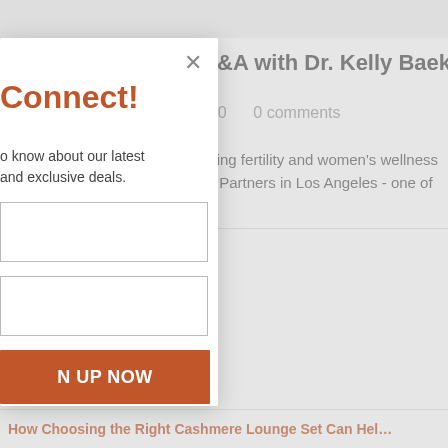Q&A with Dr. Kelly Baek
020    0 comments
ading fertility and women's wellness ity Partners in Los Angeles - one of
Connect!
o know about our latest and exclusive deals.
N UP NOW
How Choosing the Right Cashmere Lounge Set Can Hel…